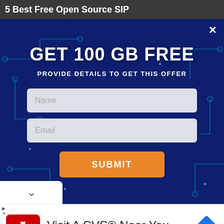5 Best Free Open Source SIP
[Figure (screenshot): Modal popup with dark blue circuit board background showing 'GET 100 GB FREE' offer with Name and Email fields and a SUBMIT button, plus a close X button in top right]
[Figure (screenshot): CVS Pharmacy advertisement banner with red CVS logo, text 'Visit A CVS® Near You' and 'CVS Pharmacy', and a blue diamond direction icon]